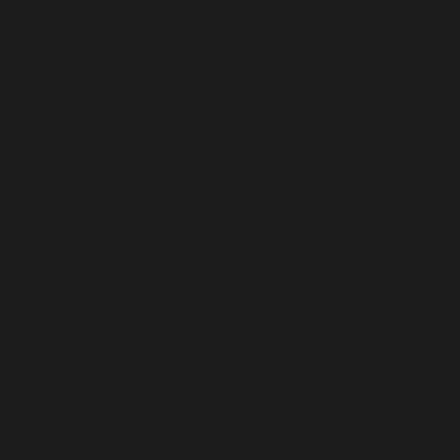remember. Labour told us it w... http://www.telegraph.co.uk/ed a-year.html - --------------------------- Labour's quest to cut primary listening to @stephentwigg to @toryeducation - 3 Sep 2012 in 2008 @stephentwigg @ale http://webarchive.nationalarch - --------------------------------------- the govt web page under Lab http://webarchive.nationalarch - @stephentwigg @alexbigha @toryeducation - 3 Sep 2012 rationalisation and the remova education news - @toryeduca school buildings reduces surp http://www.essexclerks.org.uk ----------------------------------------- programme: 'a well-managed http://www.essexclerks.org.uk ----------------------------------------- @alexbigham claiming Labou surplus places -------------------- @JohnHigginson 2 Sep 2012 'triumph' at free schools closin T...